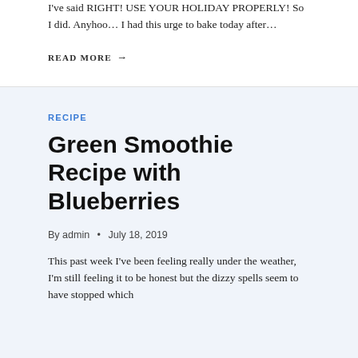I've said RIGHT! USE YOUR HOLIDAY PROPERLY! So I did. Anyhoo… I had this urge to bake today after…
READ MORE →
RECIPE
Green Smoothie Recipe with Blueberries
By admin • July 18, 2019
This past week I've been feeling really under the weather, I'm still feeling it to be honest but the dizzy spells seem to have stopped which